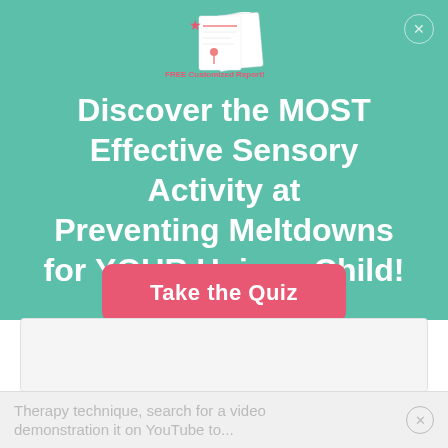[Figure (logo): FREE Customized Reports logo with illustrated report pages and icons]
Discover the MOST Effective Sensory Activity at Preventing Meltdowns for YOUR Unique Child!
Take the Quiz
If you haven't heard of the Wilbarger Therapy technique, search for a video demonstration it on YouTube to...